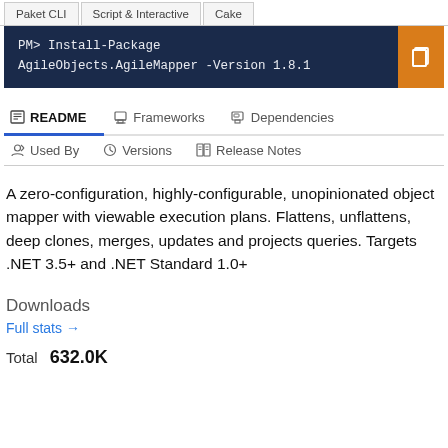Paket CLI | Script & Interactive | Cake
PM> Install-Package AgileObjects.AgileMapper -Version 1.8.1
README | Frameworks | Dependencies | Used By | Versions | Release Notes
A zero-configuration, highly-configurable, unopinionated object mapper with viewable execution plans. Flattens, unflattens, deep clones, merges, updates and projects queries. Targets .NET 3.5+ and .NET Standard 1.0+
Downloads
Full stats →
Total 632.0K